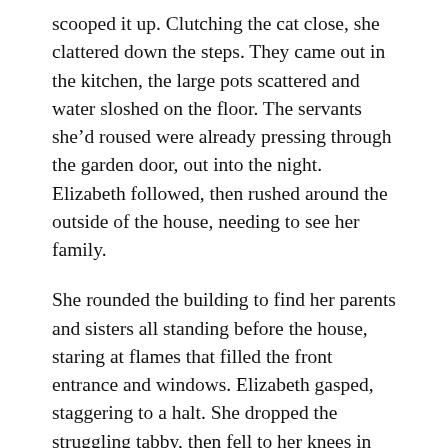scooped it up. Clutching the cat close, she clattered down the steps. They came out in the kitchen, the large pots scattered and water sloshed on the floor. The servants she'd roused were already pressing through the garden door, out into the night. Elizabeth followed, then rushed around the outside of the house, needing to see her family.
She rounded the building to find her parents and sisters all standing before the house, staring at flames that filled the front entrance and windows. Elizabeth gasped, staggering to a halt. She dropped the struggling tabby, then fell to her knees in the drive, too relieved and horrified to move.
Her father held his cashbox with a pile of ledgers at his feet. Beside him, Lydia, tears streaming down her cheeks, held a heap of clothing topped with ribbons and hats, and beyond her Mary clutched a